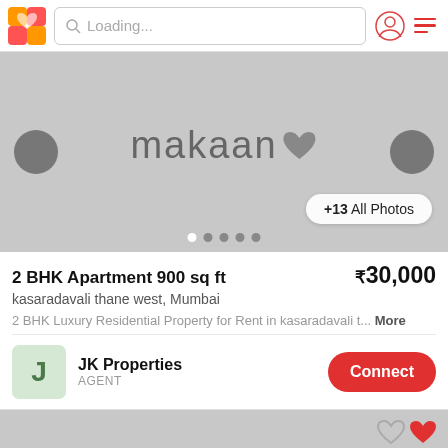Loading...
[Figure (screenshot): Property image carousel showing makaan logo on grey background with navigation buttons and dots]
2 BHK Apartment 900 sq ft
₹30,000
kasaradavali thane west, Mumbai
2 BHK Luxury Residential Property for Rent in kasaradavali t... More
JK Properties
AGENT
[Figure (screenshot): Second property image showing partial makaan logo on grey background with heart icons]